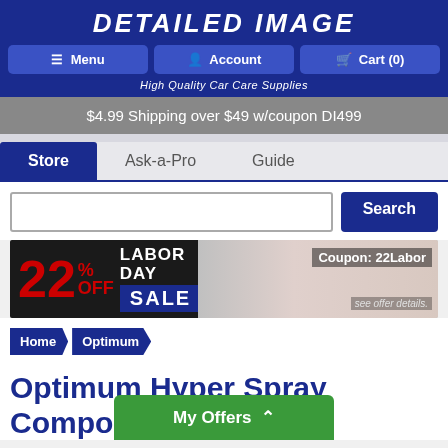DETAILED IMAGE
Menu  Account  Cart (0)
High Quality Car Care Supplies
$4.99 Shipping over $49 w/coupon DI499
Store  Ask-a-Pro  Guide
[Figure (screenshot): Search input field and Search button]
[Figure (infographic): 22% Off Labor Day Sale banner with coupon code 22Labor]
Home > Optimum
Optimum Hyper Spray Compou...
My Offers ^